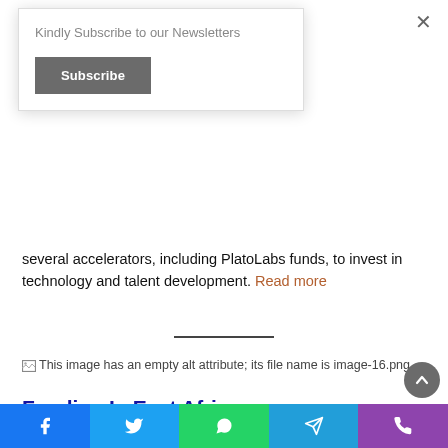Kindly Subscribe to our Newsletters
Subscribe
several accelerators, including PlatoLabs funds, to invest in technology and talent development. Read more
[Figure (illustration): Broken image placeholder: This image has an empty alt attribute; its file name is image-16.png]
Funding In East Africa
Uganda MSMEs Receive $500 000 Grant
The Crude Oil Pipeline Technical Assistance project aims to
[Figure (other): Social media share bar with Facebook, Twitter, WhatsApp, Telegram, and phone icons at bottom of page]